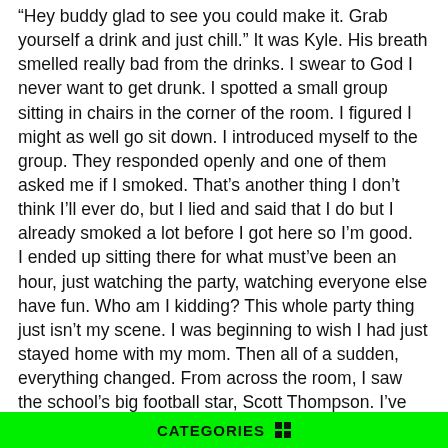“Hey buddy glad to see you could make it. Grab yourself a drink and just chill.” It was Kyle. His breath smelled really bad from the drinks. I swear to God I never want to get drunk. I spotted a small group sitting in chairs in the corner of the room. I figured I might as well go sit down. I introduced myself to the group. They responded openly and one of them asked me if I smoked. That’s another thing I don’t think I’ll ever do, but I lied and said that I do but I already smoked a lot before I got here so I’m good.
I ended up sitting there for what must’ve been an hour, just watching the party, watching everyone else have fun. Who am I kidding? This whole party thing just isn’t my scene. I was beginning to wish I had just stayed home with my mom. Then all of a sudden, everything changed. From across the room, I saw the school’s big football star, Scott Thompson. I’ve only lived here a week so I don’t know too many people yet, but Scott Thompson was such a big deal that you would have to be blind, deaf, and dumb not to know who he was. He was screaming at his girlfriend, Hannah. She was so stunningly
CATEGORIES